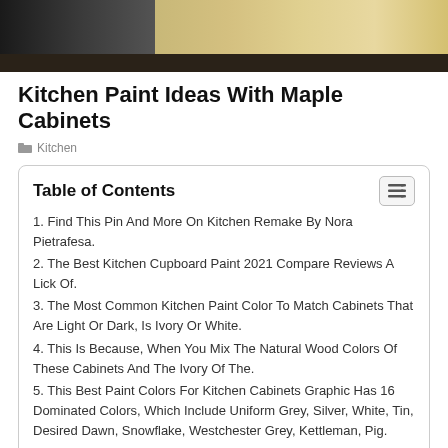[Figure (photo): Kitchen photo banner showing dark appliances on the left and light maple wood cabinets on the right with dark hardwood flooring]
Kitchen Paint Ideas With Maple Cabinets
Kitchen
| 1. Find This Pin And More On Kitchen Remake By Nora Pietrafesa. |
| 2. The Best Kitchen Cupboard Paint 2021 Compare Reviews A Lick Of. |
| 3. The Most Common Kitchen Paint Color To Match Cabinets That Are Light Or Dark, Is Ivory Or White. |
| 4. This Is Because, When You Mix The Natural Wood Colors Of These Cabinets And The Ivory Of The. |
| 5. This Best Paint Colors For Kitchen Cabinets Graphic Has 16 Dominated Colors, Which Include Uniform Grey, Silver, White, Tin, Desired Dawn, Snowflake, Westchester Grey, Kettleman, Pig. |
Kitchen Paint Ideas With Maple Cabinets. Apply a deglosse wipe it off with a clean rag. Additionally, you can't see whether cabinet is made from solid wood.